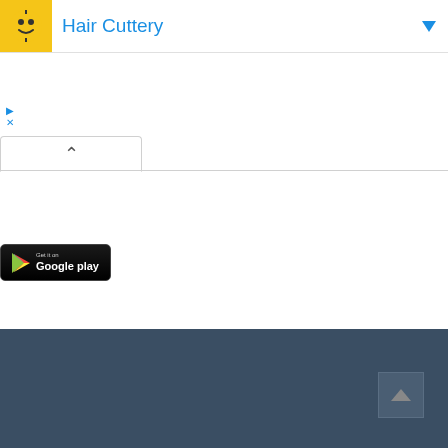[Figure (screenshot): Hair Cuttery app listing header with yellow logo icon, blue brand name text, and blue dropdown arrow]
[Figure (screenshot): Ad controls with blue play triangle and blue X close button]
[Figure (screenshot): Browser tab with up chevron caret]
[Figure (logo): Get it on Google Play button - black rounded rectangle with Google Play logo and white text]
[Figure (screenshot): Dark blue-gray footer bar with scroll-to-top button (dark square with gray upward triangle arrow)]